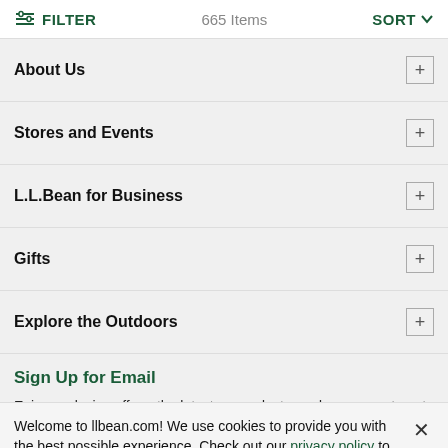FILTER   665 Items   SORT
About Us +
Stores and Events +
L.L.Bean for Business +
Gifts +
Explore the Outdoors +
Sign Up for Email
Enjoy exclusive offers, the latest on products, and new ways to get outdoors. Details
Welcome to llbean.com! We use cookies to provide you with the best possible experience. Check out our privacy policy to learn more.